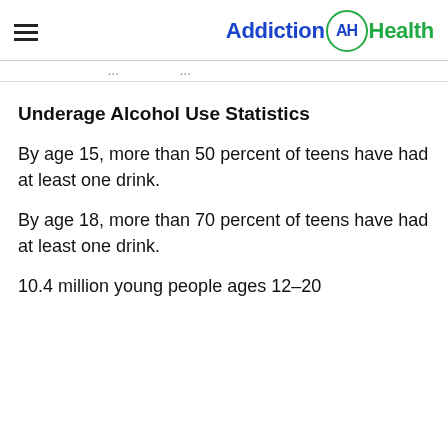Addiction AH Health
...partial text line...
Underage Alcohol Use Statistics
By age 15, more than 50 percent of teens have had at least one drink.
By age 18, more than 70 percent of teens have had at least one drink.
10.4 million young people ages 12–20